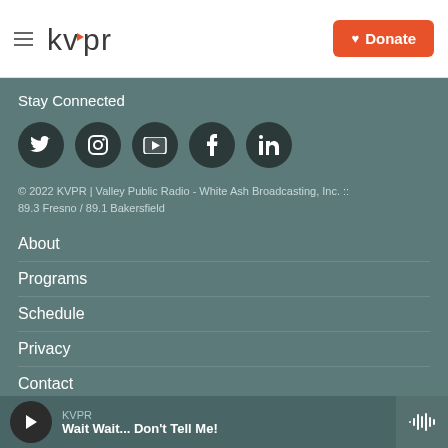kvpr | Donate
Stay Connected
[Figure (other): Row of 5 social media icons: Twitter, Instagram, YouTube, Facebook, LinkedIn — each on a dark circle background]
© 2022 KVPR | Valley Public Radio - White Ash Broadcasting, Inc. :: 89.3 Fresno / 89.1 Bakersfield
About
Programs
Schedule
Privacy
Contact
KVPR  Wait Wait... Don't Tell Me!